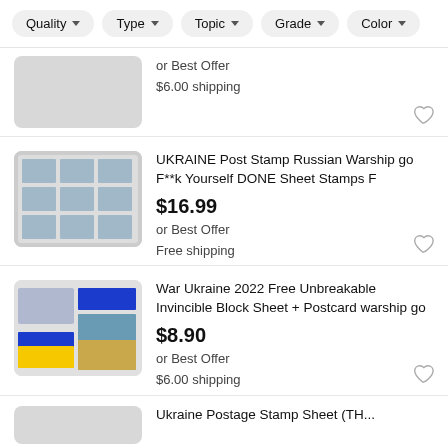Quality  Type  Topic  Grade  Color
or Best Offer
$6.00 shipping
UKRAINE Post Stamp Russian Warship go F**k Yourself DONE Sheet Stamps F
$16.99
or Best Offer
Free shipping
War Ukraine 2022 Free Unbreakable Invincible Block Sheet + Postcard warship go
$8.90
or Best Offer
$6.00 shipping
Ukraine Postage Stamp Sheet (TH...